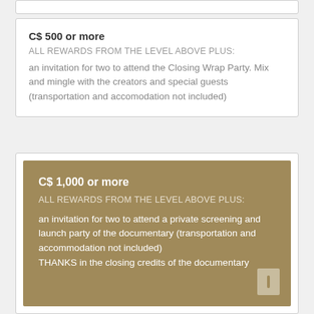C$ 500 or more
ALL REWARDS FROM THE LEVEL ABOVE PLUS:
an invitation for two to attend the Closing Wrap Party. Mix and mingle with the creators and special guests (transportation and accomodation not included)
C$ 1,000 or more
ALL REWARDS FROM THE LEVEL ABOVE PLUS:
an invitation for two to attend a private screening and launch party of the documentary (transportation and accommodation not included)
THANKS in the closing credits of the documentary